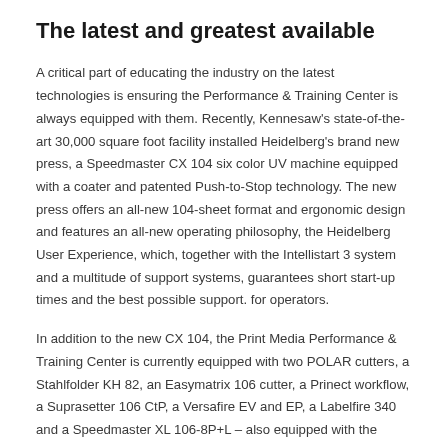The latest and greatest available
A critical part of educating the industry on the latest technologies is ensuring the Performance & Training Center is always equipped with them. Recently, Kennesaw's state-of-the-art 30,000 square foot facility installed Heidelberg's brand new press, a Speedmaster CX 104 six color UV machine equipped with a coater and patented Push-to-Stop technology. The new press offers an all-new 104-sheet format and ergonomic design and features an all-new operating philosophy, the Heidelberg User Experience, which, together with the Intellistart 3 system and a multitude of support systems, guarantees short start-up times and the best possible support. for operators.
In addition to the new CX 104, the Print Media Performance & Training Center is currently equipped with two POLAR cutters, a Stahlfolder KH 82, an Easymatrix 106 cutter, a Prinect workflow, a Suprasetter 106 CtP, a Versafire EV and EP, a Labelfire 340 and a Speedmaster XL 106-8P+L – also equipped with the latest